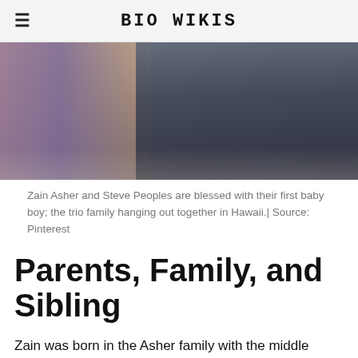BIO WIKIS
[Figure (photo): Photo of Zain Asher and Steve Peoples with their baby at a beach in Hawaii. Two adults visible from waist down, one in a blue swimsuit, one in a dark shirt, holding a small child between them.]
Zain Asher and Steve Peoples are blessed with their first baby boy; the trio family hanging out together in Hawaii.| Source: Pinterest
Parents, Family, and Sibling
Zain was born in the Asher family with the middle name Ejiofor. She is the daughter of Arinze and Obiajulu. Her father and more text continues...